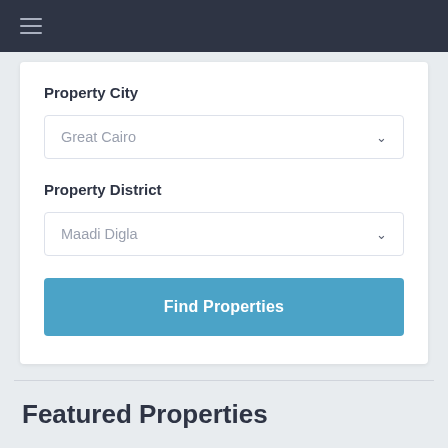☰ (hamburger menu icon)
Property City
Great Cairo
Property District
Maadi Digla
Find Properties
Featured Properties